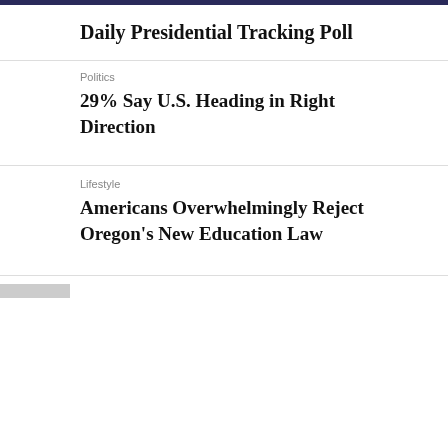Daily Presidential Tracking Poll
Politics
29% Say U.S. Heading in Right Direction
Lifestyle
Americans Overwhelmingly Reject Oregon's New Education Law